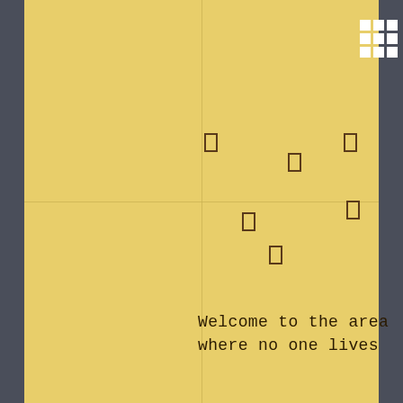[Figure (other): Grid/table icon in top right corner, white cells on dark background]
[Figure (other): Small rectangular markers scattered across the right half of the yellow page, arranged at various positions suggesting a map or spatial diagram with no one living in the area]
Welcome to the area
where no one lives